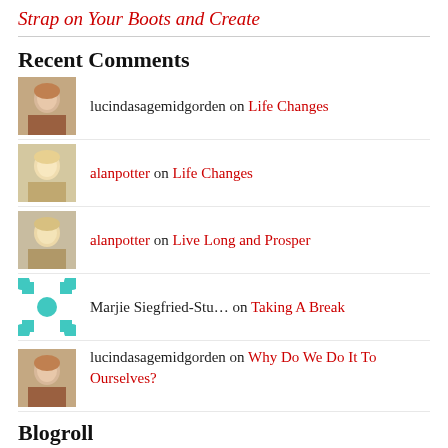Strap on Your Boots and Create
Recent Comments
lucindasagemidgorden on Life Changes
alanpotter on Life Changes
alanpotter on Live Long and Prosper
Marjie Siegfried-Stu... on Taking A Break
lucindasagemidgorden on Why Do We Do It To Ourselves?
Blogroll
Discuss